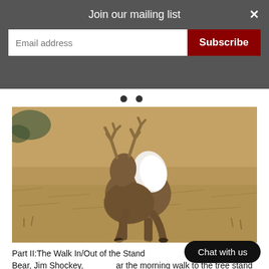Join our mailing list
Email address
Subscribe
[Figure (photo): A white-tailed deer buck running away through dry golden grassy field, displaying its white tail raised, with antlers visible, photographed from behind]
Part II:The Walk In/Out of the Stand... your name is Fred Bear, Jim Shockey... ar the morning walk to the tree stand is uncomfortable. ... 70% of the time away at tree stand is in the